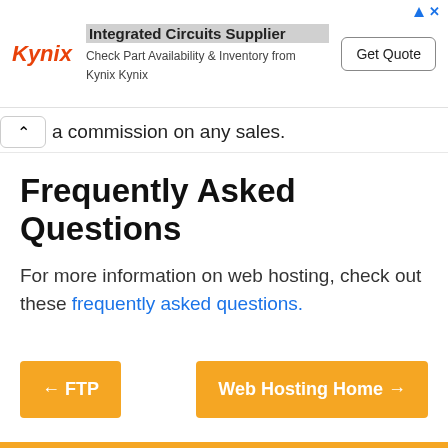[Figure (other): Kynix advertisement banner: Integrated Circuits Supplier, Check Part Availability & Inventory from Kynix Kynix, with Get Quote button]
a commission on any sales.
Frequently Asked Questions
For more information on web hosting, check out these frequently asked questions.
← FTP
Web Hosting Home →